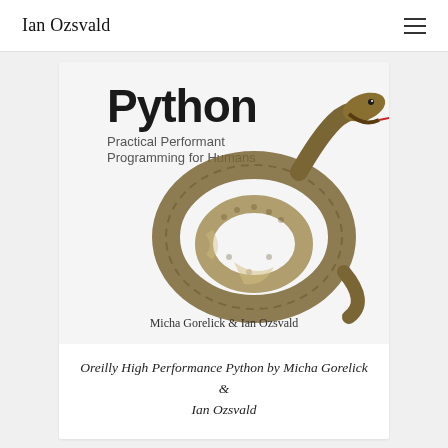Ian Ozsvald
[Figure (photo): Book cover of 'High Performance Python: Practical Performant Programming for Humans' by Micha Gorelick & Ian Ozsvald, featuring a coiled snake on a white background, published by O'Reilly.]
Oreilly High Performance Python by Micha Gorelick & Ian Ozsvald